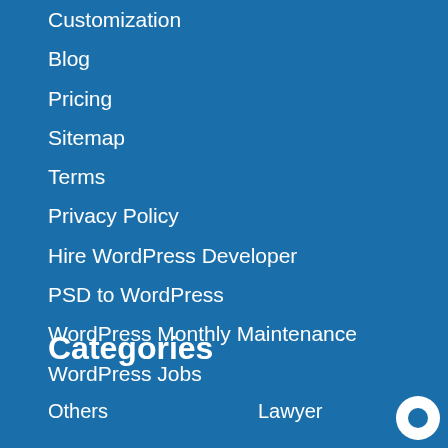Customization
Blog
Pricing
Sitemap
Terms
Privacy Policy
Hire WordPress Developer
PSD to WordPress
WordPress Monthly Maintenance
WordPress Jobs
Categories
Others
Lawyer